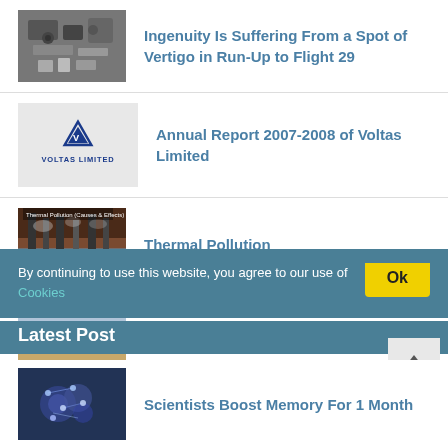Ingenuity Is Suffering From a Spot of Vertigo in Run-Up to Flight 29
Annual Report 2007-2008 of Voltas Limited
Thermal Pollution
On The Divide
By continuing to use this website, you agree to our use of Cookies
Latest Post
Scientists Boost Memory For 1 Month